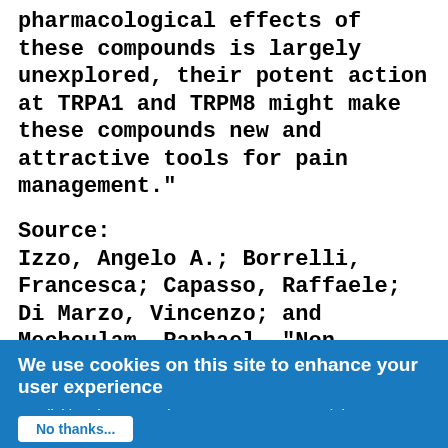pharmacological effects of these compounds is largely unexplored, their potent action at TRPA1 and TRPM8 might make these compounds new and attractive tools for pain management."
Source:
Izzo, Angelo A.; Borrelli, Francesca; Capasso, Raffaele; Di Marzo, Vincenzo; and Mechoulam, Raphael, "Non-psychotropic plant cannabinoids: new therapeutic opportunities from an ancient herb," Trends in Pharmacological Sciences (London, United Kingdom: October 2009) Vol. 30, Issue 10, pp. 525-
We use cookies on this site to enhance your user experience
By clicking the Accept button, you agree to us doing so.